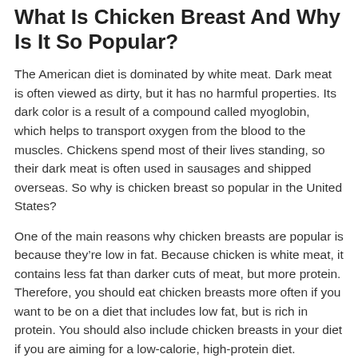What Is Chicken Breast And Why Is It So Popular?
The American diet is dominated by white meat. Dark meat is often viewed as dirty, but it has no harmful properties. Its dark color is a result of a compound called myoglobin, which helps to transport oxygen from the blood to the muscles. Chickens spend most of their lives standing, so their dark meat is often used in sausages and shipped overseas. So why is chicken breast so popular in the United States?
One of the main reasons why chicken breasts are popular is because they’re low in fat. Because chicken is white meat, it contains less fat than darker cuts of meat, but more protein. Therefore, you should eat chicken breasts more often if you want to be on a diet that includes low fat, but is rich in protein. You should also include chicken breasts in your diet if you are aiming for a low-calorie, high-protein diet.